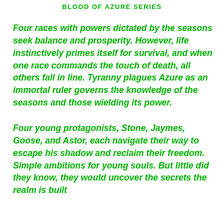BLOOD OF AZURE SERIES
Four races with powers dictated by the seasons seek balance and prosperity. However, life instinctively primes itself for survival, and when one race commands the touch of death, all others fall in line. Tyranny plagues Azure as an immortal ruler governs the knowledge of the seasons and those wielding its power.
Four young protagonists, Stone, Jaymes, Goose, and Astor, each navigate their way to escape his shadow and reclaim their freedom. Simple ambitions for young souls. But little did they know, they would uncover the secrets the realm is built